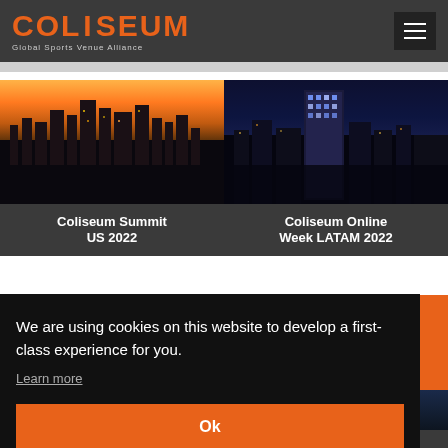COLISEUM — Global Sports Venue Alliance
[Figure (screenshot): Card image: US city skyline at sunset (orange sky) — Coliseum Summit US 2022]
Coliseum Summit US 2022
[Figure (screenshot): Card image: LATAM night city skyline with lit skyscraper — Coliseum Online Week LATAM 2022]
Coliseum Online Week LATAM 2022
We are using cookies on this website to develop a first-class experience for you.
Learn more
Ok
Coliseum Summit
Coliseum Summit